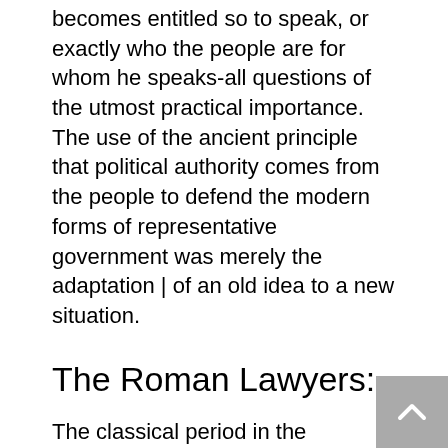becomes entitled so to speak, or exactly who the people are for whom he speaks-all questions of the utmost practical importance. The use of the ancient principle that political authority comes from the people to defend the modern forms of representative government was merely the adaptation | of an old idea to a new situation.
The Roman Lawyers:-
The classical period in the development of Roman jurisprudence fell in the second and third centuries after Christ, and the writings of the great jurists of that age were excerpted and compiled into the Digest (or Pandects), which the Emperor Justinian